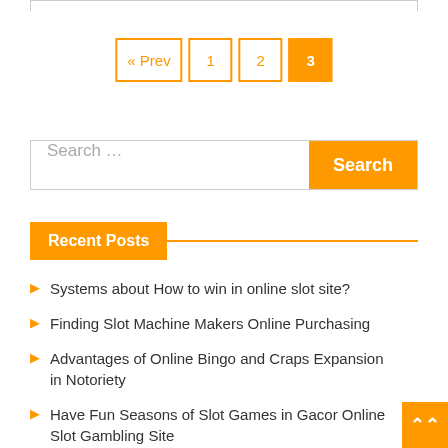« Prev  1  2  3
Search …
Recent Posts
Systems about How to win in online slot site?
Finding Slot Machine Makers Online Purchasing
Advantages of Online Bingo and Craps Expansion in Notoriety
Have Fun Seasons of Slot Games in Gacor Online Slot Gambling Site